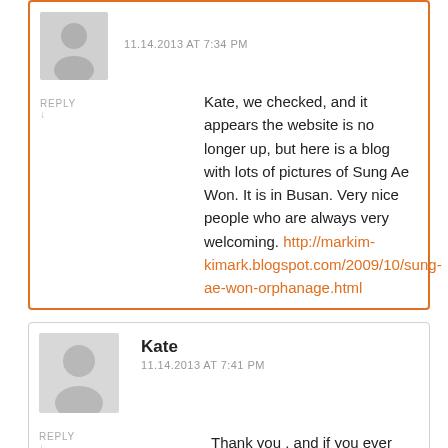Bessa Piper
11.14.2013 AT 7:34 PM
Kate, we checked, and it appears the website is no longer up, but here is a blog with lots of pictures of Sung Ae Won. It is in Busan. Very nice people who are always very welcoming. http://markim-kimark.blogspot.com/2009/10/sung-ae-won-orphanage.html
Kate
11.14.2013 AT 7:41 PM
Thank you , and if you ever come across any other contact information please keep me in mind.
Thank you ,